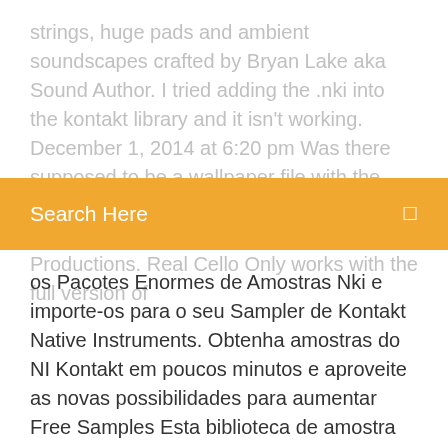strings, huge pads and ambient soundscapes crafted by Bryan Lake aka Sound Author. I tried adding the .nki into the kontakt library and it isn't working. December 1, 2014 at 6:20 pm Was there supposed to be a wallpaper file with the download? Download this free cello Kontakt library by Regulus Sound Productions. Real Cello Only works with the full version of
Search Here
os Pacotes Enormes de Amostras Nki e importe-os para o seu Sampler de Kontakt Native Instruments. Obtenha amostras do NI Kontakt em poucos minutos e aproveite as novas possibilidades para aumentar Free Samples Esta biblioteca de amostra apresenta 3,6 Gb de sons únicos prontos para uso com o seu . 28 Feb 2018 How to load in Kontakt Files into Native Instruments Kontakt 5. Once you have downloaded your new sample library which contains Kontakt Files, one of the Kontakt instrument files (.nki) and it will load it into Kontakt. 11